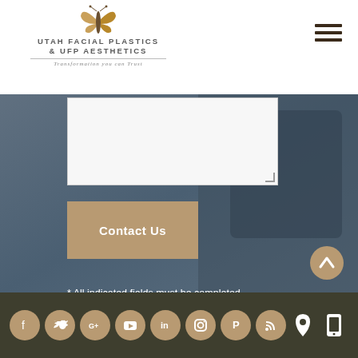[Figure (logo): Utah Facial Plastics & UFP Aesthetics logo with butterfly and tagline 'Transformation you can Trust']
[Figure (other): Hamburger menu icon (three horizontal lines) in top right]
[Figure (other): White textarea input box with resize handle, partially visible]
[Figure (other): Brown 'Contact Us' button]
* All indicated fields must be completed. Please include non-medical questions and correspondence only.
[Figure (other): Circular scroll-to-top arrow button in bronze/gold color]
[Figure (other): Footer with social media icons: Facebook, Twitter, Google+, YouTube, LinkedIn, Instagram, Pinterest, RSS feed; plus location pin and mobile phone icons on right]